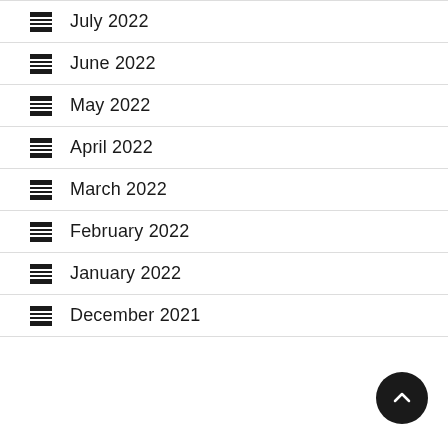July 2022
June 2022
May 2022
April 2022
March 2022
February 2022
January 2022
December 2021